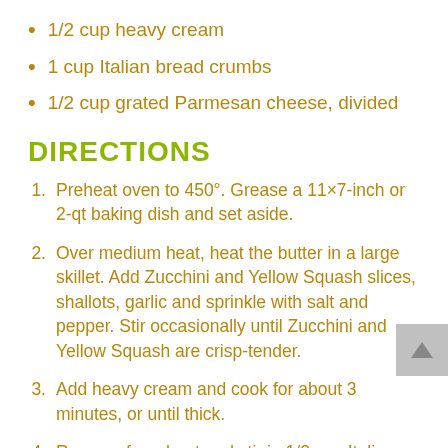1/2 cup heavy cream
1 cup Italian bread crumbs
1/2 cup grated Parmesan cheese, divided
DIRECTIONS
1. Preheat oven to 450°. Grease a 11×7-inch or 2-qt baking dish and set aside.
2. Over medium heat, heat the butter in a large skillet. Add Zucchini and Yellow Squash slices, shallots, garlic and sprinkle with salt and pepper. Stir occasionally until Zucchini and Yellow Squash are crisp-tender.
3. Add heavy cream and cook for about 3 minutes, or until thick.
4. Remove from heat and stir in 1/2 cup Italian bread crumbs and 1/4 cup Parmesan